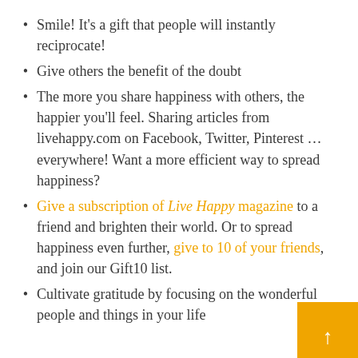Smile! It's a gift that people will instantly reciprocate!
Give others the benefit of the doubt
The more you share happiness with others, the happier you'll feel. Sharing articles from livehappy.com on Facebook, Twitter, Pinterest … everywhere! Want a more efficient way to spread happiness?
Give a subscription of Live Happy magazine to a friend and brighten their world. Or to spread happiness even further, give to 10 of your friends, and join our Gift10 list.
Cultivate gratitude by focusing on the wonderful people and things in your life